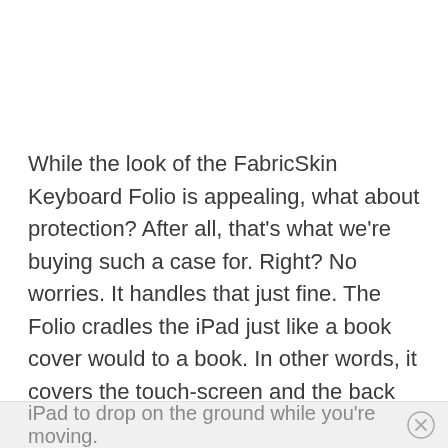While the look of the FabricSkin Keyboard Folio is appealing, what about protection?  After all, that's what we're buying such a case for.  Right?  No worries.  It handles that just fine.  The Folio cradles the iPad just like a book cover would to a book.  In other words, it covers the touch-screen and the back panel so you have protection from all sides.  When the Folio is closed, it stays that way thanks to the magnetic clasp.  This is essential, as the last thing you want to have happen is for your expensive
iPad to drop on the ground while you're moving.